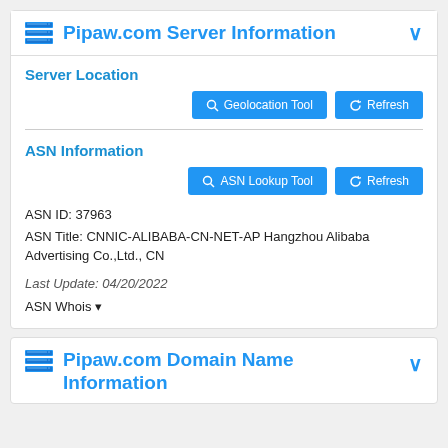Pipaw.com Server Information
Server Location
ASN Information
ASN ID: 37963
ASN Title: CNNIC-ALIBABA-CN-NET-AP Hangzhou Alibaba Advertising Co.,Ltd., CN
Last Update: 04/20/2022
ASN Whois ▾
Pipaw.com Domain Name Information